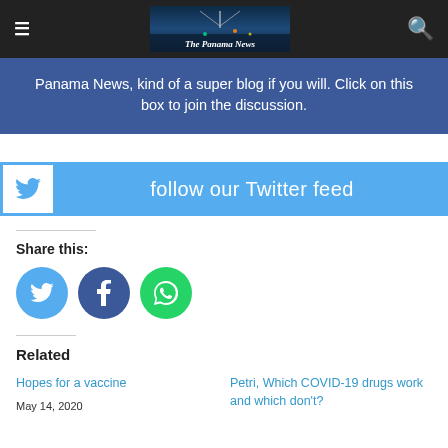The Panama News — navigation bar with hamburger menu and search icon
[Figure (screenshot): Blue promotional banner for The Panama News reading: Panama News, kind of a super blog if you will. Click on this box to join the discussion.]
[Figure (infographic): Twitter follow banner with bird icon and text: follow our Twitter feed]
Share this:
[Figure (infographic): Three circular share buttons: Twitter (blue), Facebook (dark blue), WhatsApp (green)]
Related
Hopes for a vaccine
May 14, 2020
Petri, Which COVID-19 drugs work and which don't?